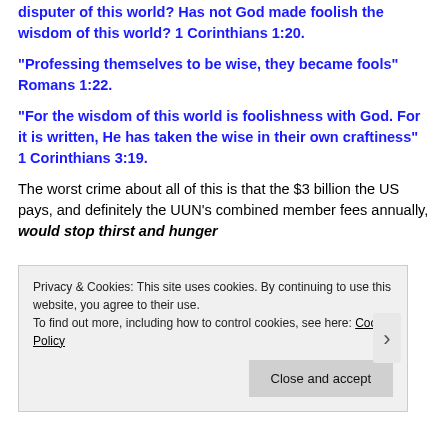disputer of this world? Has not God made foolish the wisdom of this world? 1 Corinthians 1:20.
“Professing themselves to be wise, they became fools” Romans 1:22.
“For the wisdom of this world is foolishness with God. For it is written, He has taken the wise in their own craftiness” 1 Corinthians 3:19.
The worst crime about all of this is that the $3 billion the US pays, and definitely the UUN’s combined member fees annually, would stop thirst and hunger
Privacy & Cookies: This site uses cookies. By continuing to use this website, you agree to their use. To find out more, including how to control cookies, see here: Cookie Policy
Close and accept